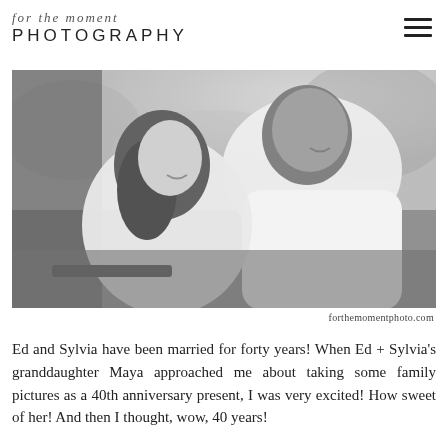for the moment PHOTOGRAPHY
[Figure (photo): Black and white photograph of a couple, a woman and a man, smiling and looking at each other outdoors. Both wearing white tops.]
forthemomentphoto.com
Ed and Sylvia have been married for forty years! When Ed + Sylvia's granddaughter Maya approached me about taking some family pictures as a 40th anniversary present, I was very excited! How sweet of her! And then I thought, wow, 40 years!